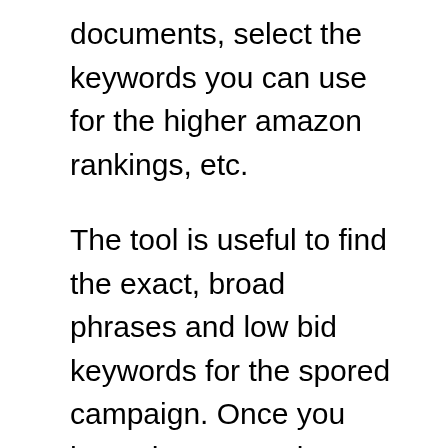documents, select the keywords you can use for the higher amazon rankings, etc.
The tool is useful to find the exact, broad phrases and low bid keywords for the spored campaign. Once you have the targeted keywords list, you can implement it in your amazon PPC campaign and rank for the high volume, low competition keywords.
Also, filter the keywords based on the bidding price and choose all the low bid